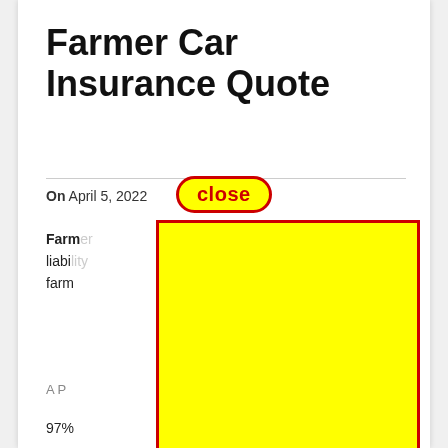Farmer Car Insurance Quote
On April 5, 2022  [close button overlay]  ...quotes
Farm... liability... farm...
[Figure (other): Yellow rectangle with red border overlay covering central portion of the page, with a red-outlined 'close' badge button at top]
A P... ...ass
97% ...ry